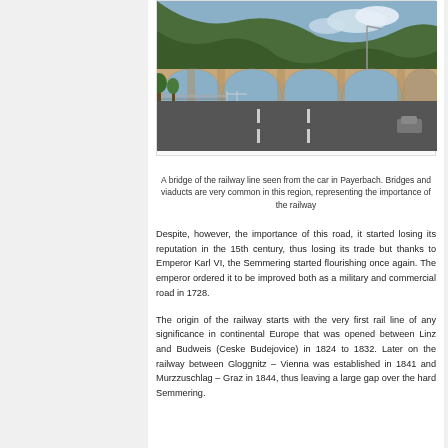[Figure (photo): A bridge of the railway line seen from a car in Payerbach, showing stone arched viaduct with multiple arches, road underneath, trees and hills in background]
A bridge of the railway line seen from the car in Payerbach. Bridges and viaducts are very common in this region, representing the importance of the railway
Despite, however, the importance of this road, it started losing its reputation in the 15th century, thus losing its trade but thanks to Emperor Karl VI, the Semmering started flourishing once again. The emperor ordered it to be improved both as a military and commercial road in 1728.
The origin of the railway starts with the very first rail line of any significance in continental Europe that was opened between Linz and Budweis (Ceske Budejovice) in 1824 to 1832. Later on the railway between Gloggnitz – Vienna was established in 1841 and Murzzuschlag – Graz in 1844, thus leaving a large gap over the hard Semmering.